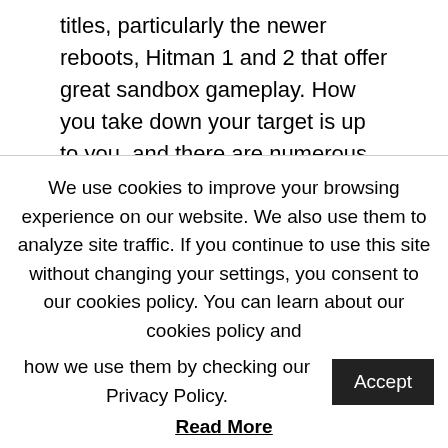titles, particularly the newer reboots, Hitman 1 and 2 that offer great sandbox gameplay. How you take down your target is up to you, and there are numerous different ways to do so. Take down guards or other people with a certain role; take their clothes and use as a disguise to gain access to certain areas and more. If you've already played the Hitman games and are waiting for more then you will probably be delighted to hear that a third entry in the rebooted franchise is coming.
We use cookies to improve your browsing experience on our website. We also use them to analyze site traffic. If you continue to use this site without changing your settings, you consent to our cookies policy. You can learn about our cookies policy and how we use them by checking our Privacy Policy.
Accept
Read More